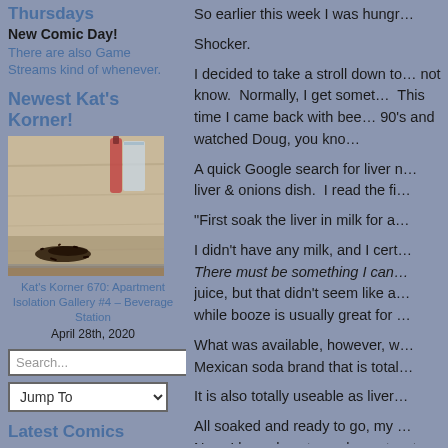Thursdays
New Comic Day!
There are also Game Streams kind of whenever.
Newest Kat's Korner!
[Figure (photo): Close-up photo of a wooden cutting board with dark scattered herbs/spices, a glass and bottle in background]
Kat's Korner 670: Apartment Isolation Gallery #4 – Beverage Station
April 28th, 2020
Search...
Jump To
Latest Comics
Corpse Run 1,158: Day Zero
Corpse Run 1,157: There was no other way
So earlier this week I was hungr…

Shocker.

I decided to take a stroll down to… not know. Normally, I get somet… This time I came back with bee… 90's and watched Doug, you kno…

A quick Google search for liver n… liver & onions dish. I read the fi…

"First soak the liver in milk for a…

I didn't have any milk, and I cert… There must be something I can… juice, but that didn't seem like a… while booze is usually great for …

What was available, however, w… Mexican soda brand that is total…

It is also totally useable as liver…

All soaked and ready to go, my … Now, I know how to cook meat;… to do (which is unfortunate since…